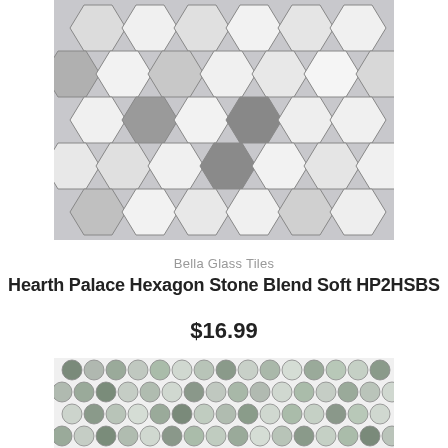[Figure (photo): Hexagon stone mosaic tile in white and gray blend pattern arranged in rows on a light gray background]
Bella Glass Tiles
Hearth Palace Hexagon Stone Blend Soft HP2HSBS
$16.99
[Figure (photo): Penny round mosaic tile in mixed gray and silver tones arranged in a grid pattern on white background]